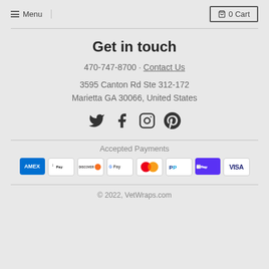Menu  0 Cart
Get in touch
470-747-8700 · Contact Us
3595 Canton Rd Ste 312-172
Marietta GA 30066, United States
[Figure (infographic): Social media icons: Twitter, Facebook, Instagram, Pinterest]
Accepted Payments
[Figure (infographic): Payment method badges: AMEX, Apple Pay, Discover, Google Pay, Mastercard, PayPal, Shop Pay, Visa]
© 2022, VetWraps.com